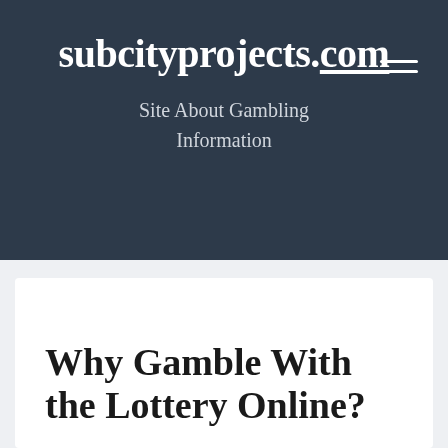subcityprojects.com
Site About Gambling Information
Why Gamble With the Lottery Online?